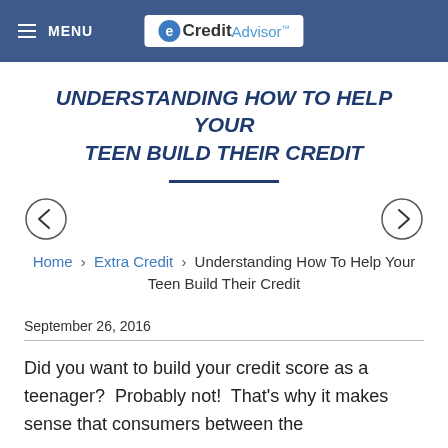≡ MENU | eCreditAdvisor
UNDERSTANDING HOW TO HELP YOUR TEEN BUILD THEIR CREDIT
Home › Extra Credit › Understanding How To Help Your Teen Build Their Credit
September 26, 2016
Did you want to build your credit score as a teenager?  Probably not!  That's why it makes sense that consumers between the